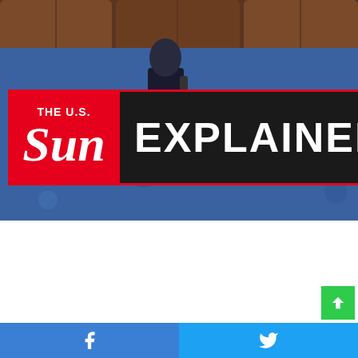[Figure (photo): Screenshot of a webpage from The U.S. Sun 'Explained' series, showing a person in a wheelchair in what appears to be a legislative chamber with blue carpet and brown leather seats. A large red and black branded logo overlay reads 'THE U.S. Sun EXPLAINED'. Below the image is a white content area. Bottom has a green scroll-to-top button and a social share bar with Facebook and Twitter icons in blue.]